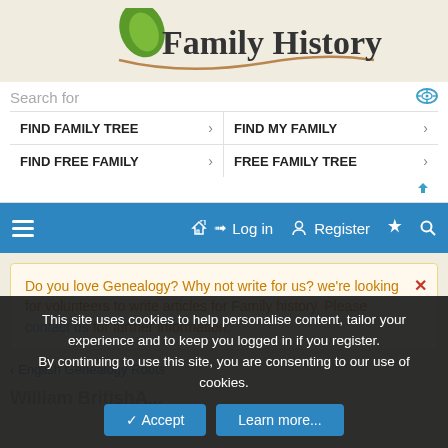[Figure (logo): Family History UK logo with green leaf and brown swoosh]
Search for
FIND FAMILY TREE >
FIND MY FAMILY >
FIND FREE FAMILY >
FREE FAMILY TREE >
Log in  Register
Do you love Genealogy? Why not write for us? we're looking for volunteers to write articles for Family history. Please contact us for further information.
< English Genealogy Roots
This site uses cookies to help personalise content, tailor your experience and to keep you logged in if you register.
By continuing to use this site, you are consenting to our use of cookies.